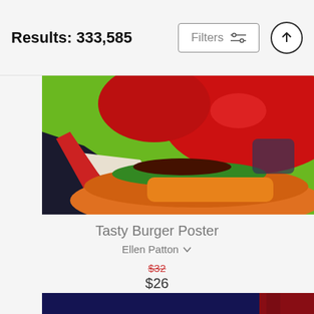Results: 333,585
Filters
[Figure (photo): Close-up colorful painting of hands holding a burger with bright red, green, orange, and yellow colors against a green background]
Tasty Burger Poster
Ellen Patton
$32
$26
[Figure (photo): Colorful painting of a jazz band performing — musicians playing upright bass, drums, and trumpet on a dark blue stage background with red curtain]